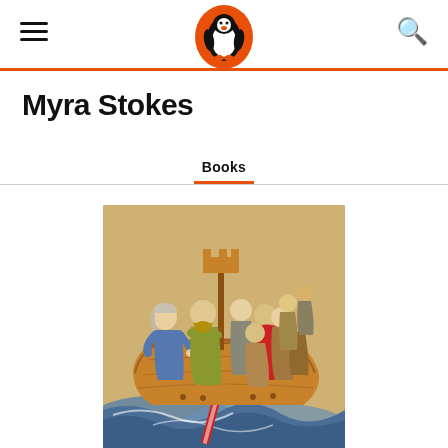Penguin Books navigation header with hamburger menu, Penguin logo, and search icon
Myra Stokes
Books
[Figure (illustration): Medieval manuscript illustration of multiple people crowded in a wooden sailing boat on stylized blue waves, with a red oar or sword going into the water. Figures include a woman in blue dress, a bearded man in yellow-green garment, and several other people. The boat has a mast with a small battlement at the top.]